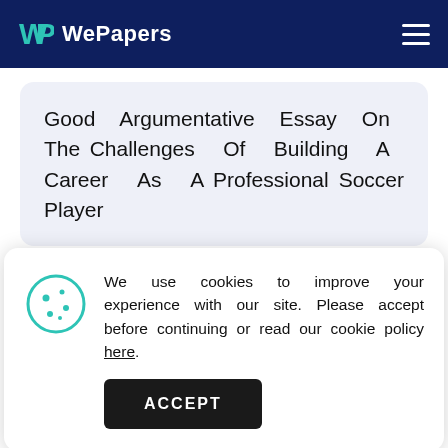WePapers
Good Argumentative Essay On The Challenges Of Building A Career As A Professional Soccer Player
We use cookies to improve your experience with our site. Please accept before continuing or read our cookie policy here.
ACCEPT
amongst the best paid professionals in the world due to the high numbers of people who are willing to part with money to watch games in various